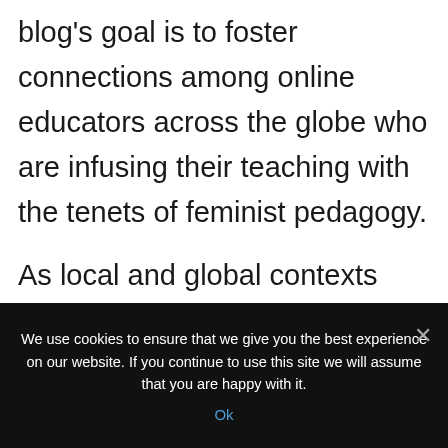blog's goal is to foster connections among online educators across the globe who are infusing their teaching with the tenets of feminist pedagogy.

As local and global contexts change (almost daily it seems) for us and our students, an outlet for real-time, thoughtful ideas and practices is needed. With ever-increasing
We use cookies to ensure that we give you the best experience on our website. If you continue to use this site we will assume that you are happy with it.
Ok